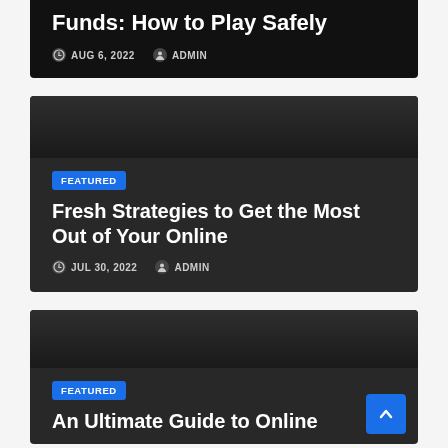Funds: How to Play Safely
AUG 6, 2022   ADMIN
FEATURED
Fresh Strategies to Get the Most Out of Your Online
JUL 30, 2022   ADMIN
FEATURED
An Ultimate Guide to Online